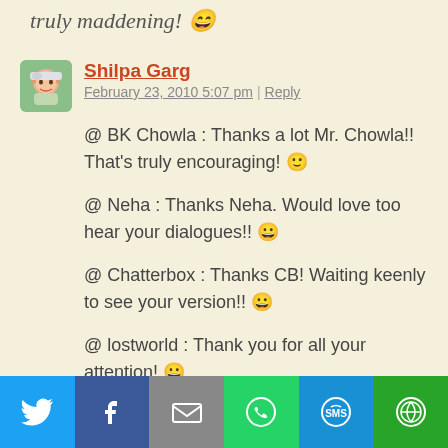truly maddening! 😄
Shilpa Garg
February 23, 2010 5:07 pm | Reply
@ BK Chowla : Thanks a lot Mr. Chowla!! That's truly encouraging! 🙂
@ Neha : Thanks Neha. Would love too hear your dialogues!! 😀
@ Chatterbox : Thanks CB! Waiting keenly to see your version!! 😀
@ lostworld : Thank you for all your attention! 😀
I had a fun time doing it too! I shared these
[Figure (infographic): Social sharing bar with icons for Twitter, Facebook, Email, WhatsApp, SMS, and More]